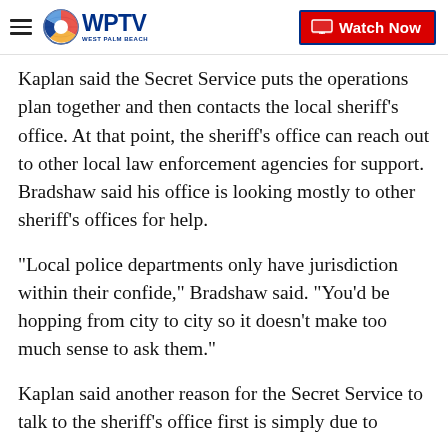WPTV West Palm Beach | Watch Now
Kaplan said the Secret Service puts the operations plan together and then contacts the local sheriff's office. At that point, the sheriff's office can reach out to other local law enforcement agencies for support.  Bradshaw said his office is looking mostly to other sheriff's offices for help.
“Local police departments only have jurisdiction within their confide,” Bradshaw said. "You’d be hopping from city to city so it doesn’t make too much sense to ask them.”
Kaplan said another reason for the Secret Service to talk to the sheriff’s office first is simply due to